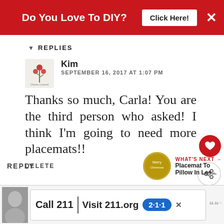[Figure (screenshot): Red banner advertisement: 'Do You Love To DIY?' with a 'Click Here!' button and an X close button]
REPLIES
Kim
SEPTEMBER 16, 2017 AT 1:07 PM
Thanks so much, Carla! You are the third person who asked! I think I'm going to need more placemats!!
DELETE
REPLY
[Figure (screenshot): What's Next widget with a circular gold/brown thumbnail and text 'WHAT'S NEXT → Placemat To Pillow In Les...']
[Figure (screenshot): Bottom advertisement bar: 'Call 211 | Visit 211.org' with a 2-1-1 badge logo]